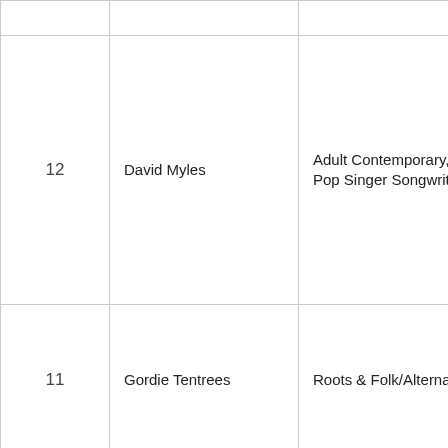| # | Artist | Genre |  |
| --- | --- | --- | --- |
| 12 | David Myles | Adult Contemporary, Pop Singer Songwriter | [icon] |
| 11 | Gordie Tentrees | Roots & Folk/Alternative | [icon] |
| 10 | Trent Severn | Folk, Country | [icon] |
| 09 | Double Feature:Steve Brockley Band / Katie Tait and Thirty Years Different | Folk, Blues / Jazz | [icon] |
| 08 | Brenda Lee Katerenchuk | Jazz | [icon] |